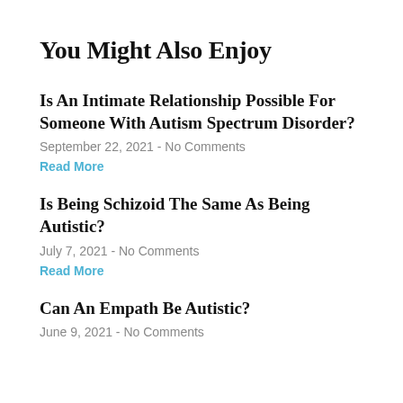You Might Also Enjoy
Is An Intimate Relationship Possible For Someone With Autism Spectrum Disorder?
September 22, 2021 - No Comments
Read More
Is Being Schizoid The Same As Being Autistic?
July 7, 2021 - No Comments
Read More
Can An Empath Be Autistic?
June 9, 2021 - No Comments